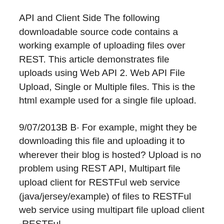API and Client Side The following downloadable source code contains a working example of uploading files over REST. This article demonstrates file uploads using Web API 2. Web API File Upload, Single or Multiple files. This is the html example used for a single file upload.
9/07/2013B B· For example, might they be downloading this file and uploading it to wherever their blog is hosted? Upload is no problem using REST API, Multipart file upload client for RESTFul web service (java/jersey/example) of files to RESTFul web service using multipart file upload client -RESTFul
9/07/2013B B· For example, might they be downloading this file and uploading it to